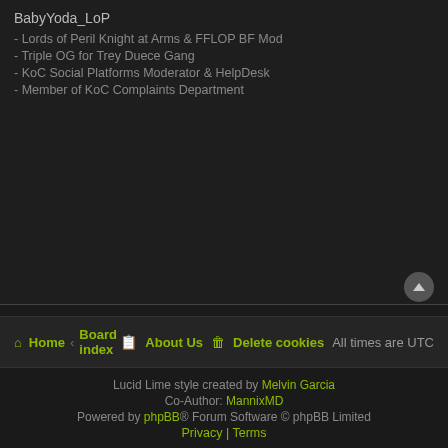BabyYoda_LoP
- Lords of Peril Knight at Arms & FFLOP BF Mod
- Triple OG for Trey Duece Gang
- KoC Social Platforms Moderator & HelpDesk
- Member of KoC Complaints Department
Post Reply  [tools]  [sort]
5 posts • Page 1 of 1
Jump to
Home • Board index  About Us  Delete cookies  All times are UTC
Lucid Lime style created by Melvin Garcia
Co-Author: MannixMD
Powered by phpBB® Forum Software © phpBB Limited
Privacy | Terms